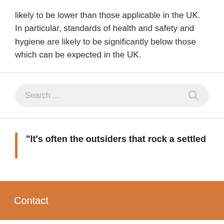likely to be lower than those applicable in the UK. In particular, standards of health and safety and hygiene are likely to be significantly below those which can be expected in the UK.
[Figure (other): Search bar with placeholder text 'Search ...' and a search icon on the right, styled with rounded corners on a light grey background]
"It's often the outsiders that rock a settled
Contact